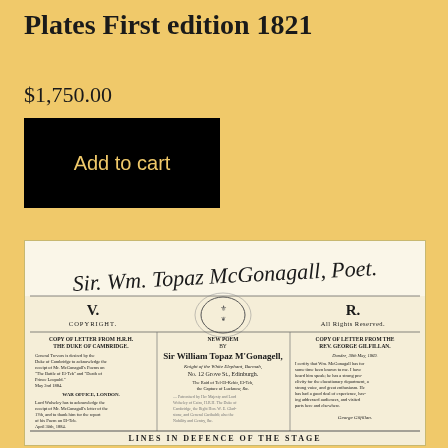Plates First edition 1821
$1,750.00
Add to cart
[Figure (photo): Broadside/handbill for Sir William Topaz McGonagall, showing his signature, copyright notice, royal emblem, letters from HRH the Duke of Cambridge and Rev. George Gilfillan, and title 'New Poem by Sir William Topar McGonagall, Knight of the White Elephant, Burmah, No. 12 Grove St., Edinburgh. The Raid of Tel-El-Kebir, El-Teb, the Capture of Lucknow, &c.' Partially visible at the bottom: 'Lines in Defence of the Stage']